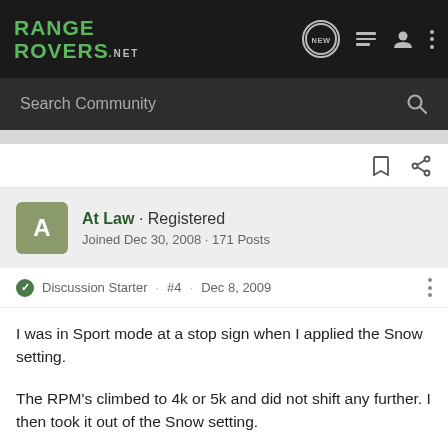[Figure (screenshot): RangeRovers.net navigation bar with logo, NEW bubble, list icon, user icon, and three-dot menu]
[Figure (screenshot): Search Community search bar with magnifying glass icon]
At Law · Registered
Joined Dec 30, 2008 · 171 Posts
Discussion Starter · #4 · Dec 8, 2009
I was in Sport mode at a stop sign when I applied the Snow setting.
The RPM's climbed to 4k or 5k and did not shift any further. I then took it out of the Snow setting.
I did notice the transmission showed it was in 2nd gear.